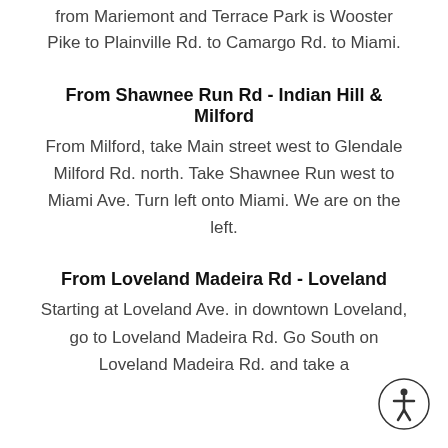from Mariemont and Terrace Park is Wooster Pike to Plainville Rd. to Camargo Rd. to Miami.
From Shawnee Run Rd - Indian Hill & Milford
From Milford, take Main street west to Glendale Milford Rd. north. Take Shawnee Run west to Miami Ave. Turn left onto Miami. We are on the left.
From Loveland Madeira Rd - Loveland
Starting at Loveland Ave. in downtown Loveland, go to Loveland Madeira Rd. Go South on Loveland Madeira Rd. and take a